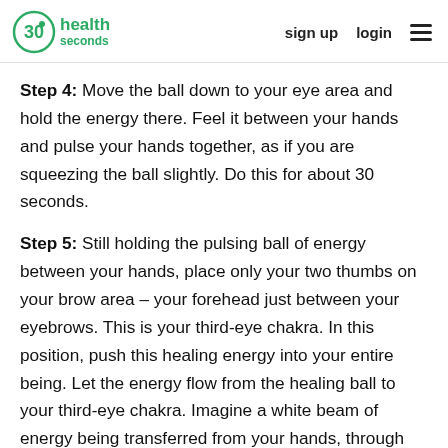30 seconds health | sign up  login
Step 4: Move the ball down to your eye area and hold the energy there. Feel it between your hands and pulse your hands together, as if you are squeezing the ball slightly. Do this for about 30 seconds.
Step 5: Still holding the pulsing ball of energy between your hands, place only your two thumbs on your brow area – your forehead just between your eyebrows. This is your third-eye chakra. In this position, push this healing energy into your entire being. Let the energy flow from the healing ball to your third-eye chakra. Imagine a white beam of energy being transferred from your hands, through your thumbs, and directly into your third eye. Continue repeating the chant, but